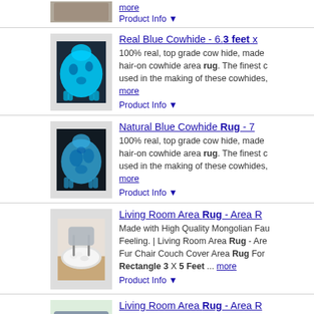[Figure (photo): Partial product image at top (cropped)]
more
Product Info ▼
Real Blue Cowhide - 6.3 feet x...
100% real, top grade cow hide, made hair-on cowhide area rug. The finest c... used in the making of these cowhides, ... more
Product Info ▼
Natural Blue Cowhide Rug - 7...
100% real, top grade cow hide, made hair-on cowhide area rug. The finest c... used in the making of these cowhides, ... more
Product Info ▼
Living Room Area Rug - Area R...
Made with High Quality Mongolian Fau... Feeling. | Living Room Area Rug - Are... Fur Chair Couch Cover Area Rug For... Rectangle 3 X 5 Feet ... more
Product Info ▼
Living Room Area Rug - Area R...
Made with High Quality Mongolian Fau... Feeling. | Living Room Area Rug - Are... Fur Chair Couch Cover Area Rug For...